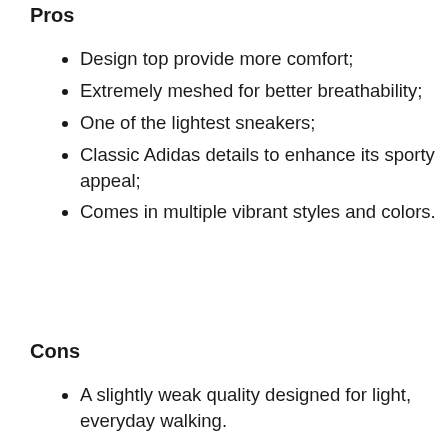Pros
Design top provide more comfort;
Extremely meshed for better breathability;
One of the lightest sneakers;
Classic Adidas details to enhance its sporty appeal;
Comes in multiple vibrant styles and colors.
Cons
A slightly weak quality designed for light, everyday walking.
Adidas Cloudfoam Pure Shoe is one of the best shoes for everyday wearing. It is sporty,